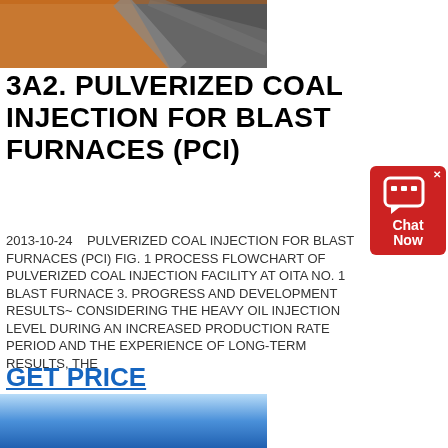[Figure (photo): Top portion of image showing reddish-brown surface with dark gray/coal material, partially cut off at top]
3A2. PULVERIZED COAL INJECTION FOR BLAST FURNACES (PCI)
2013-10-24    PULVERIZED COAL INJECTION FOR BLAST FURNACES (PCI) FIG. 1 PROCESS FLOWCHART OF PULVERIZED COAL INJECTION FACILITY AT OITA NO. 1 BLAST FURNACE 3. PROGRESS AND DEVELOPMENT RESULTS" CONSIDERING THE HEAVY OIL INJECTION LEVEL DURING AN INCREASED PRODUCTION RATE PERIOD AND THE EXPERIENCE OF LONG-TERM RESULTS, THE
GET PRICE
[Figure (photo): Bottom image showing blue sky gradient, partially visible]